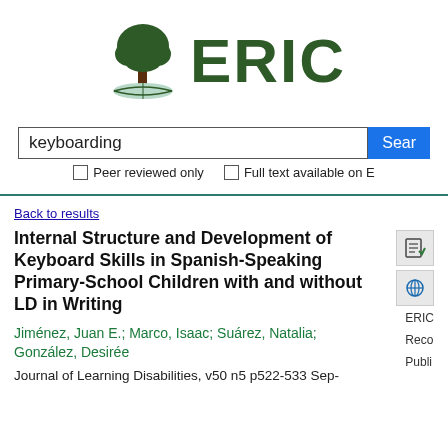[Figure (logo): ERIC logo with green tree above an open book and bold green ERIC text]
keyboarding
Sear
Peer reviewed only   Full text available on E
Back to results
Internal Structure and Development of Keyboard Skills in Spanish-Speaking Primary-School Children with and without LD in Writing
Jiménez, Juan E.; Marco, Isaac; Suárez, Natalia; González, Desirée
Journal of Learning Disabilities, v50 n5 p522-533 Sep-
ERIC
Reco
Publi